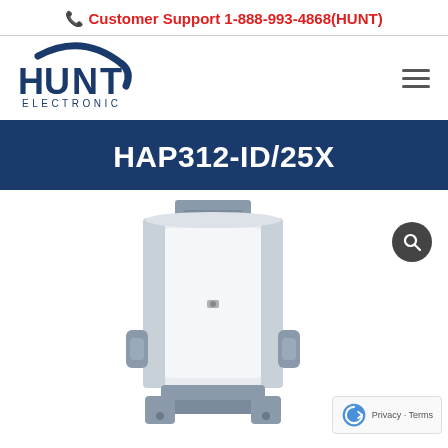Customer Support 1-888-993-4868(HUNT)
[Figure (logo): Hunt Electronic logo with blue arc and wordmark]
HAP312-ID/25X
[Figure (photo): Hunt Electronic HAP312-ID/25X PTZ camera housing unit, gray/silver metal enclosure with mounting bracket, viewed from front-side angle]